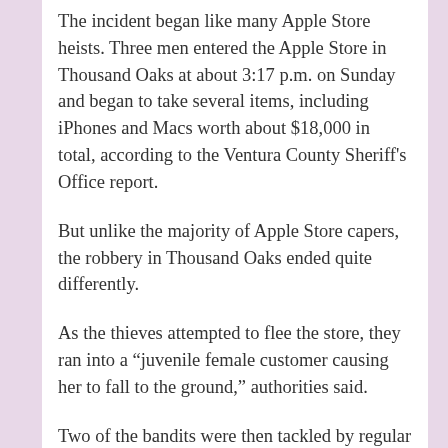The incident began like many Apple Store heists. Three men entered the Apple Store in Thousand Oaks at about 3:17 p.m. on Sunday and began to take several items, including iPhones and Macs worth about $18,000 in total, according to the Ventura County Sheriff's Office report.
But unlike the majority of Apple Store capers, the robbery in Thousand Oaks ended quite differently.
As the thieves attempted to flee the store, they ran into a “juvenile female customer causing her to fall to the ground,” authorities said.
Two of the bandits were then tackled by regular Apple Store customers — who held them down until police arrived.
The third suspect, who managed to escape the store, was arrested separately when his car was